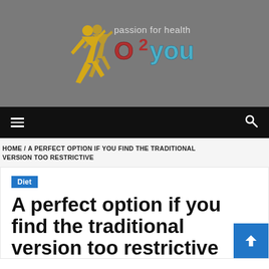[Figure (logo): O2 You - passion for health logo with two running figures in yellow/gold on gray background, with red 'O2' and blue 'you' text and 'passion for health' tagline]
≡  🔍
HOME / A PERFECT OPTION IF YOU FIND THE TRADITIONAL VERSION TOO RESTRICTIVE
Diet
A perfect option if you find the traditional version too restrictive